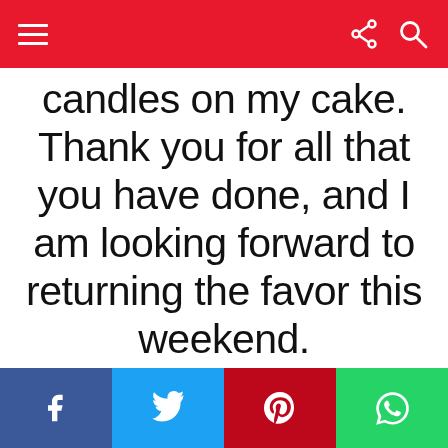[Navigation bar with hamburger menu, share icon, and search icon on red background]
candles on my cake. Thank you for all that you have done, and I am looking forward to returning the favor this weekend.
““
If you were not my mom
[Social share bar: Facebook, Twitter, Pinterest, WhatsApp]